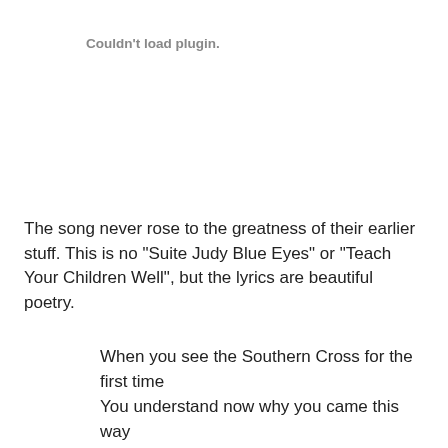Couldn't load plugin.
The song never rose to the greatness of their earlier stuff. This is no "Suite Judy Blue Eyes" or "Teach Your Children Well", but the lyrics are beautiful poetry.
When you see the Southern Cross for the first time
You understand now why you came this way
'Cause the truth you might be runnin' from is so small
But it's as big as the promise, the promise of a comin' day
So I'm sailing for tomorrow, my dreams are a